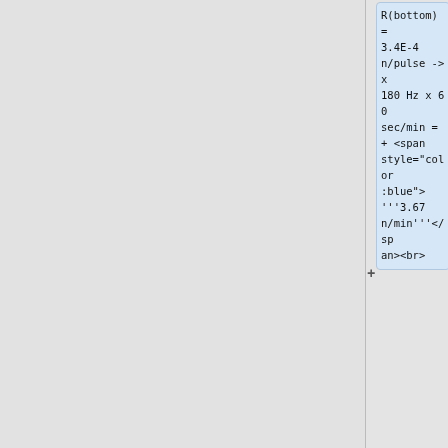R(bottom) = 3.4E-4 n/pulse -> x 180 Hz x 60 sec/min = + <span style="color:blue"> '''3.67 n/min'''</span><br>
R(upstream) = 13.6E-3 e+/pulse<br>
|-
|<span style="color:blue">'''2538'''</span>||Down<br>